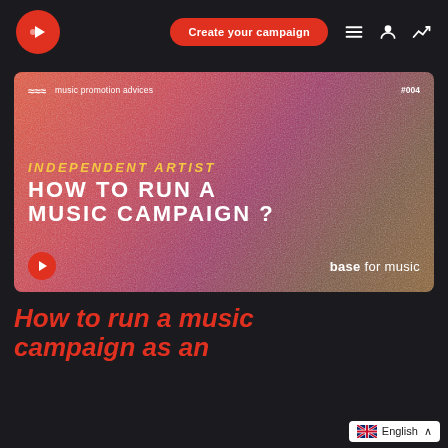[Figure (screenshot): Navigation bar with red circular logo, 'Create your campaign' red button, hamburger menu, user icon, and chart icon on dark background]
[Figure (infographic): Hero thumbnail image with gradient background (orange to purple). Text: 'INDEPENDENT ARTIST' in yellow italic, 'HOW TO RUN A MUSIC CAMPAIGN ?' in white bold. Logo with 'music promotion advices' and '#004' tag. Play button and 'base for music' branding at bottom.]
How to run a music campaign as an